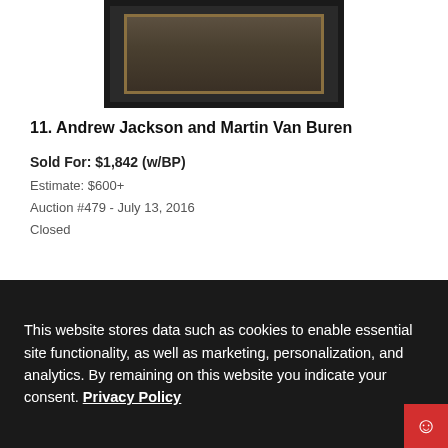[Figure (photo): Framed artwork with dark border and gold inner frame, dark brownish interior]
11. Andrew Jackson and Martin Van Buren
Sold For: $1,842 (w/BP)
Estimate: $600+
Auction #479 - July 13, 2016
Closed
[Figure (photo): Aged handwritten letter on cream/tan paper with cursive script text]
This website stores data such as cookies to enable essential site functionality, as well as marketing, personalization, and analytics. By remaining on this website you indicate your consent. Privacy Policy